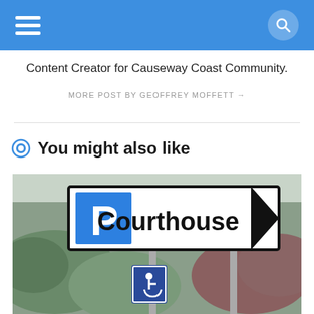Navigation bar with hamburger menu and search icon
Content Creator for Causeway Coast Community.
MORE POST BY GEOFFREY MOFFETT →
You might also like
[Figure (photo): Photograph of a parking sign reading 'P Courthouse' with a blue parking symbol and a chevron arrow pointing right, and a disabled parking sign below it, set against a background of trees and shrubs.]